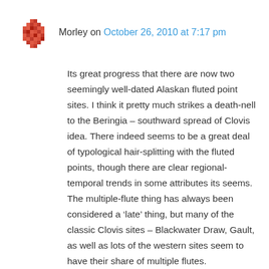Morley on October 26, 2010 at 7:17 pm
Its great progress that there are now two seemingly well-dated Alaskan fluted point sites. I think it pretty much strikes a death-nell to the Beringia – southward spread of Clovis idea. There indeed seems to be a great deal of typological hair-splitting with the fluted points, though there are clear regional-temporal trends in some attributes its seems. The multiple-flute thing has always been considered a ‘late’ thing, but many of the classic Clovis sites – Blackwater Draw, Gault, as well as lots of the western sites seem to have their share of multiple flutes.
Western Stemmed, how many well-dated well described sites of your point type are there?